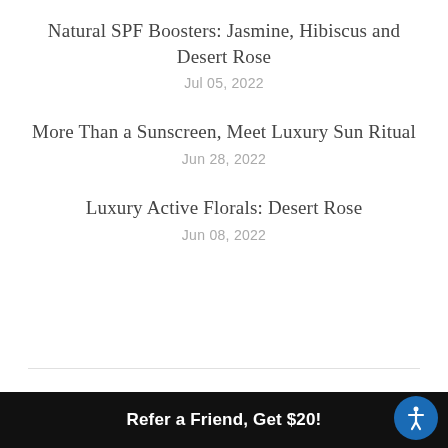Natural SPF Boosters: Jasmine, Hibiscus and Desert Rose
Jul 05, 2022
More Than a Sunscreen, Meet Luxury Sun Ritual
Jun 28, 2022
Luxury Active Florals: Desert Rose
Jun 08, 2022
RETURN POLICY
Returns will be accepted within 21 days of purchase as long as merchandise is in its original condition.
Refer a Friend, Get $20!